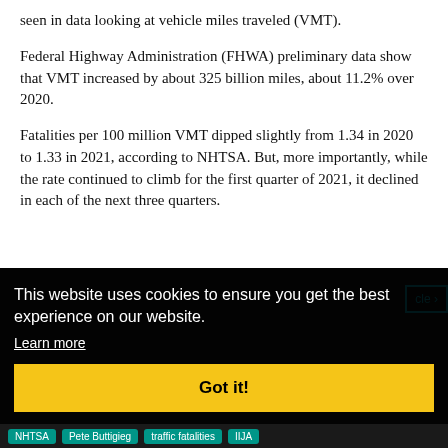seen in data looking at vehicle miles traveled (VMT).
Federal Highway Administration (FHWA) preliminary data show that VMT increased by about 325 billion miles, about 11.2% over 2020.
Fatalities per 100 million VMT dipped slightly from 1.34 in 2020 to 1.33 in 2021, according to NHTSA. But, more importantly, while the rate continued to climb for the first quarter of 2021, it declined in each of the next three quarters.
This website uses cookies to ensure you get the best experience on our website.
Learn more
Got it!
NHTSA  Pete Buttigieg  traffic fatalities  IIJA